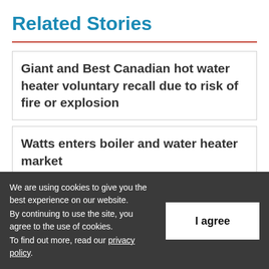Related Stories
Giant and Best Canadian hot water heater voluntary recall due to risk of fire or explosion
Watts enters boiler and water heater market
Lochinvar celebrates water heater, boiler
We are using cookies to give you the best experience on our website. By continuing to use the site, you agree to the use of cookies. To find out more, read our privacy policy.